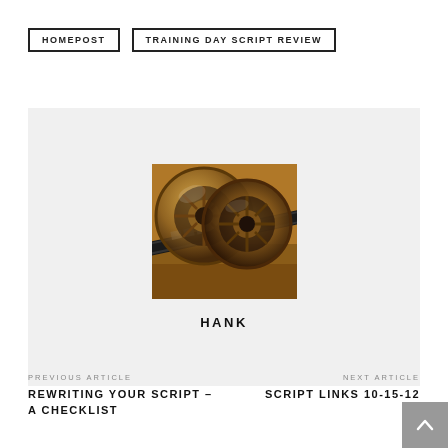HOMEPOST | TRAINING DAY SCRIPT REVIEW
[Figure (photo): Film reels with film strip, warm brown/gold tones, on a wooden surface. Author avatar for HANK.]
HANK
PREVIOUS ARTICLE
REWRITING YOUR SCRIPT – A CHECKLIST
NEXT ARTICLE
SCRIPT LINKS 10-15-12